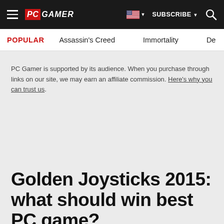PC GAMER — SUBSCRIBE — Search
POPULAR  Assassin's Creed  Immortality  De…
PC Gamer is supported by its audience. When you purchase through links on our site, we may earn an affiliate commission. Here's why you can trust us.
Golden Joysticks 2015: what should win best PC game?